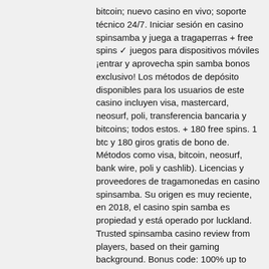bitcoin; nuevo casino en vivo; soporte técnico 24/7. Iniciar sesión en casino spinsamba y juega a tragaperras + free spins ✓ juegos para dispositivos móviles ¡entrar y aprovecha spin samba bonos exclusivo! Los métodos de depósito disponibles para los usuarios de este casino incluyen visa, mastercard, neosurf, poli, transferencia bancaria y bitcoins; todos estos. + 180 free spins. 1 btc y 180 giros gratis de bono de. Métodos como visa, bitcoin, neosurf, bank wire, poli y cashlib). Licencias y proveedores de tragamonedas en casino spinsamba. Su origen es muy reciente, en 2018, el casino spin samba es propiedad y está operado por luckland. Trusted spinsamba casino review from players, based on their gaming background. Bonus code: 100% up to c$1000 + 50 free spins. This was a nice touch we found while writing this cloudbet review. The slots also